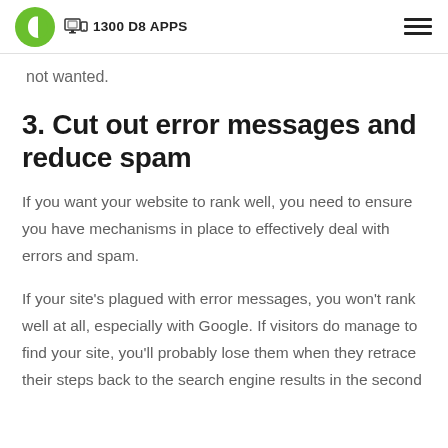1300 D8 APPS
not wanted.
3. Cut out error messages and reduce spam
If you want your website to rank well, you need to ensure you have mechanisms in place to effectively deal with errors and spam.
If your site's plagued with error messages, you won't rank well at all, especially with Google. If visitors do manage to find your site, you'll probably lose them when they retrace their steps back to the search engine results in the second